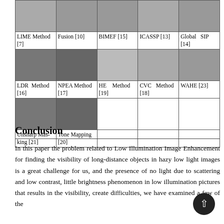| LIME Method [7] | Fusion [10] | BIMEF [15] | ICASSP [13] | Global SIP [14] |
| --- | --- | --- | --- | --- |
| [image] | [image] | [image] | [image] | [image] |
| LDR Method [16] | NPEA Method [17] | HE Method [19] | CVC Method [18] | WAHE [23] |
| [image] | [image] |  |  |  |
| Unsharp Masking [21] | Tone Mapping [20] |  |  |  |
Conclusion
In this paper the problem related to Low Illumination Image Enhancement for finding the visibility of long-distance objects in hazy low light images is a great challenge for us, and the presence of no light due to scattering and low contrast, little brightness phenomenon in low illumination pictures that results in the visibility, create difficulties, we have examined a few of the